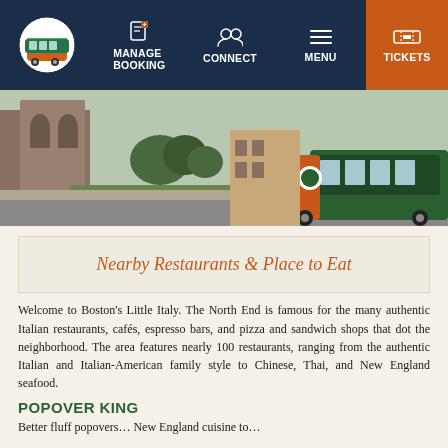MANAGE BOOKING | CONNECT | MENU | TICKETS
[Figure (photo): Hero image of Boston street scene with green and orange trolley bus in front of historic buildings]
Nearby Restaurants & Place to Eat
Welcome to Boston's Little Italy. The North End is famous for the many authentic Italian restaurants, cafés, espresso bars, and pizza and sandwich shops that dot the neighborhood. The area features nearly 100 restaurants, ranging from the authentic Italian and Italian-American family style to Chinese, Thai, and New England seafood.
POPOVER KING
Better fluff popovers... New England cuisine...